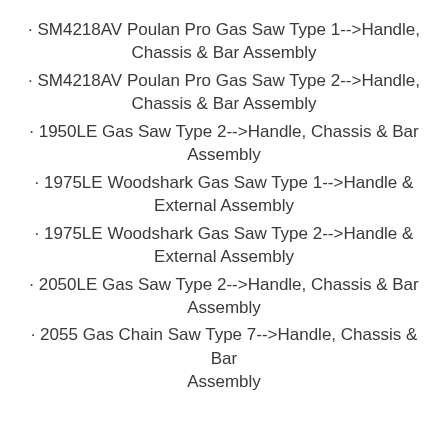· SM4218AV Poulan Pro Gas Saw Type 1-->Handle, Chassis & Bar Assembly
· SM4218AV Poulan Pro Gas Saw Type 2-->Handle, Chassis & Bar Assembly
· 1950LE Gas Saw Type 2-->Handle, Chassis & Bar Assembly
· 1975LE Woodshark Gas Saw Type 1-->Handle & External Assembly
· 1975LE Woodshark Gas Saw Type 2-->Handle & External Assembly
· 2050LE Gas Saw Type 2-->Handle, Chassis & Bar Assembly
· 2055 Gas Chain Saw Type 7-->Handle, Chassis & Bar Assembly